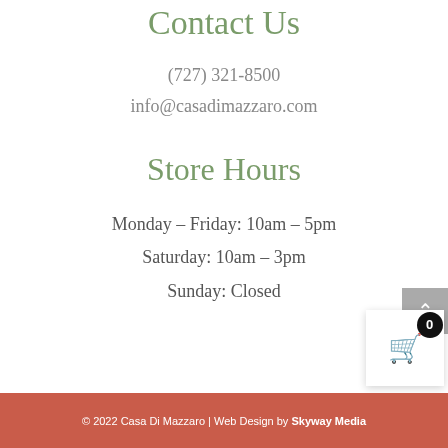Contact Us
(727) 321-8500
info@casadimazzaro.com
Store Hours
Monday – Friday: 10am – 5pm
Saturday: 10am – 3pm
Sunday: Closed
© 2022 Casa Di Mazzaro | Web Design by Skyway Media